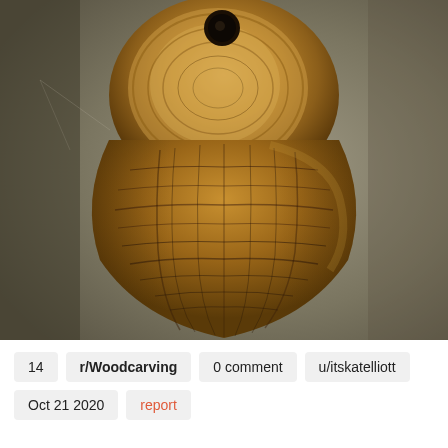[Figure (photo): Close-up photograph of a handcrafted wooden pendant/arrowhead shape with a hole at the top, showing detailed wood grain texture in warm brown tones, against a blurred gray-green background.]
14   r/Woodcarving   0 comment   u/itskatelliott
Oct 21 2020   report